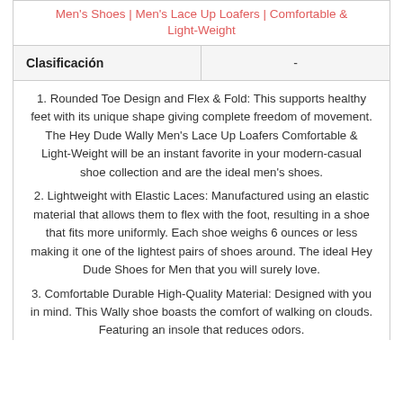Men's Shoes | Men's Lace Up Loafers | Comfortable & Light-Weight
| Clasificación | - |
| --- | --- |
1. Rounded Toe Design and Flex & Fold: This supports healthy feet with its unique shape giving complete freedom of movement. The Hey Dude Wally Men's Lace Up Loafers Comfortable & Light-Weight will be an instant favorite in your modern-casual shoe collection and are the ideal men's shoes.
2. Lightweight with Elastic Laces: Manufactured using an elastic material that allows them to flex with the foot, resulting in a shoe that fits more uniformly. Each shoe weighs 6 ounces or less making it one of the lightest pairs of shoes around. The ideal Hey Dude Shoes for Men that you will surely love.
3. Comfortable Durable High-Quality Material: Designed with you in mind. This Wally shoe boasts the comfort of walking on clouds. Featuring an insole that reduces odors.